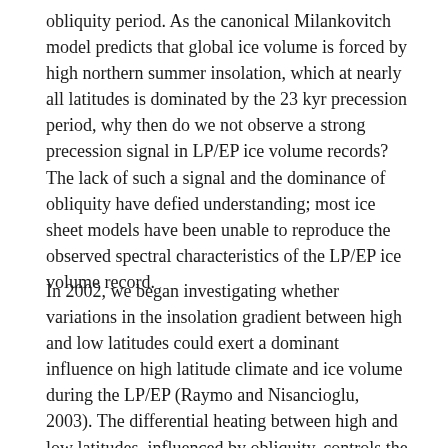obliquity period. As the canonical Milankovitch model predicts that global ice volume is forced by high northern summer insolation, which at nearly all latitudes is dominated by the 23 kyr precession period, why then do we not observe a strong precession signal in LP/EP ice volume records? The lack of such a signal and the dominance of obliquity have defied understanding; most ice sheet models have been unable to reproduce the observed spectral characteristics of the LP/EP ice volume record.
In 2002, we began investigating whether variations in the insolation gradient between high and low latitudes could exert a dominant influence on high latitude climate and ice volume during the LP/EP (Raymo and Nisancioglu, 2003). The differential heating between high and low latitudes, influenced by obliquity, controls the atmospheric meridional flux of heat and moisture. In the 2-D zonal